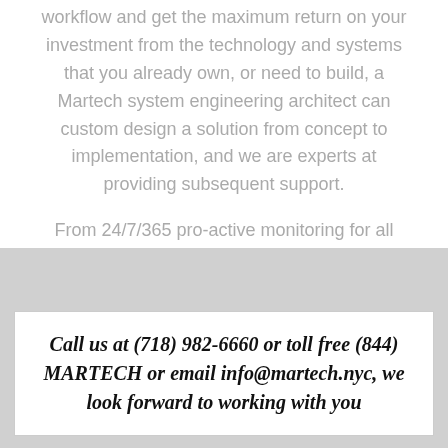workflow and get the maximum return on your investment from the technology and systems that you already own, or need to build, a Martech system engineering architect can custom design a solution from concept to implementation, and we are experts at providing subsequent support.
From 24/7/365 pro-active monitoring for all your systems to basic 9-5 remote support Martech will be there for you and your company. Reach out to us today via phone or email.
Call us at (718) 982-6660 or toll free (844) MARTECH or email info@martech.nyc, we look forward to working with you